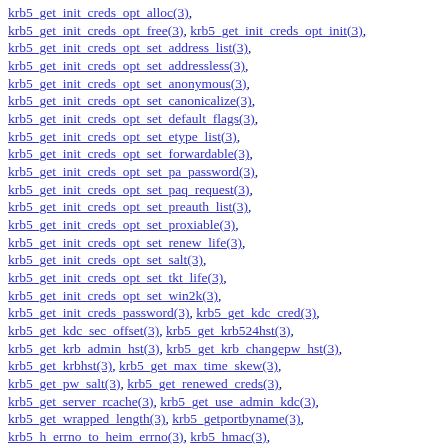krb5_get_init_creds_opt_alloc(3),
krb5_get_init_creds_opt_free(3), krb5_get_init_creds_opt_init(3),
krb5_get_init_creds_opt_set_address_list(3),
krb5_get_init_creds_opt_set_addressless(3),
krb5_get_init_creds_opt_set_anonymous(3),
krb5_get_init_creds_opt_set_canonicalize(3),
krb5_get_init_creds_opt_set_default_flags(3),
krb5_get_init_creds_opt_set_etype_list(3),
krb5_get_init_creds_opt_set_forwardable(3),
krb5_get_init_creds_opt_set_pa_password(3),
krb5_get_init_creds_opt_set_paq_request(3),
krb5_get_init_creds_opt_set_preauth_list(3),
krb5_get_init_creds_opt_set_proxiable(3),
krb5_get_init_creds_opt_set_renew_life(3),
krb5_get_init_creds_opt_set_salt(3),
krb5_get_init_creds_opt_set_tkt_life(3),
krb5_get_init_creds_opt_set_win2k(3),
krb5_get_init_creds_password(3), krb5_get_kdc_cred(3),
krb5_get_kdc_sec_offset(3), krb5_get_krb524hst(3),
krb5_get_krb_admin_hst(3), krb5_get_krb_changepw_hst(3),
krb5_get_krbhst(3), krb5_get_max_time_skew(3),
krb5_get_pw_salt(3), krb5_get_renewed_creds(3),
krb5_get_server_rcache(3), krb5_get_use_admin_kdc(3),
krb5_get_wrapped_length(3), krb5_getportbyname(3),
krb5_h_errno_to_heim_errno(3), krb5_hmac(3),
krb5_init_context(3), krb5_init_ets(3), krb5_initlog(3),